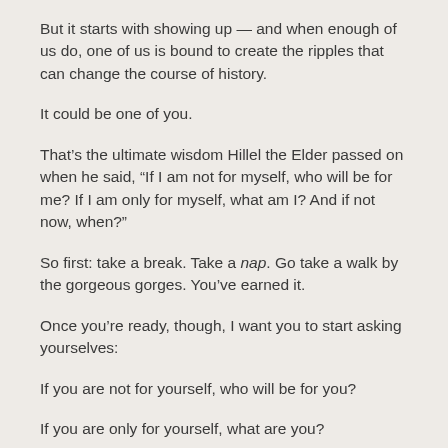But it starts with showing up — and when enough of us do, one of us is bound to create the ripples that can change the course of history.
It could be one of you.
That’s the ultimate wisdom Hillel the Elder passed on when he said, “If I am not for myself, who will be for me? If I am only for myself, what am I? And if not now, when?”
So first: take a break. Take a nap. Go take a walk by the gorgeous gorges. You’ve earned it.
Once you’re ready, though, I want you to start asking yourselves:
If you are not for yourself, who will be for you?
If you are only for yourself, what are you?